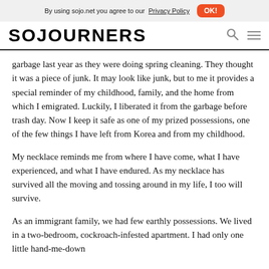By using sojo.net you agree to our Privacy Policy  OK!
[Figure (logo): SOJOURNERS logo in bold black text with search and menu icons]
garbage last year as they were doing spring cleaning. They thought it was a piece of junk. It may look like junk, but to me it provides a special reminder of my childhood, family, and the home from which I emigrated. Luckily, I liberated it from the garbage before trash day. Now I keep it safe as one of my prized possessions, one of the few things I have left from Korea and from my childhood.
My necklace reminds me from where I have come, what I have experienced, and what I have endured. As my necklace has survived all the moving and tossing around in my life, I too will survive.
As an immigrant family, we had few earthly possessions. We lived in a two-bedroom, cockroach-infested apartment. I had only one little hand-me-down